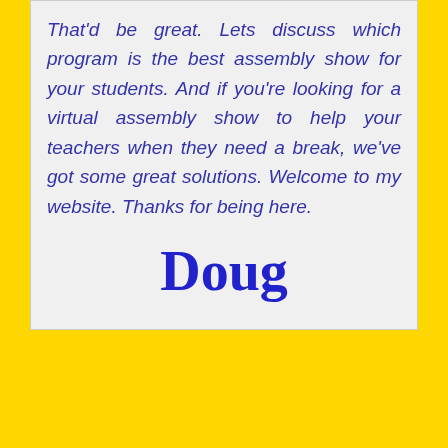That'd be great. Lets discuss which program is the best assembly show for your students. And if you're looking for a virtual assembly show to help your teachers when they need a break, we've got some great solutions. Welcome to my website. Thanks for being here.
[Figure (illustration): Handwritten-style signature reading 'Doug' in dark blue cursive/comic font]
Service not available for 155447352300951, please contact website administrator.